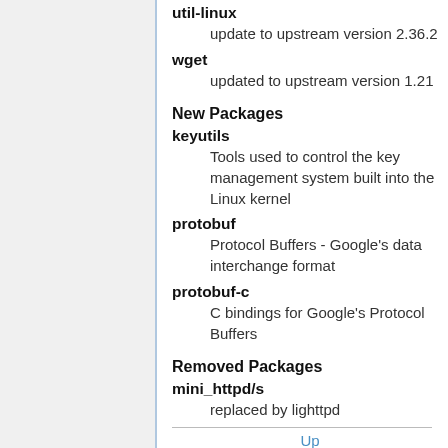util-linux
update to upstream version 2.36.2
wget
updated to upstream version 1.21
New Packages
keyutils
Tools used to control the key management system built into the Linux kernel
protobuf
Protocol Buffers - Google's data interchange format
protobuf-c
C bindings for Google's Protocol Buffers
Removed Packages
mini_httpd/s
replaced by lighttpd
Up